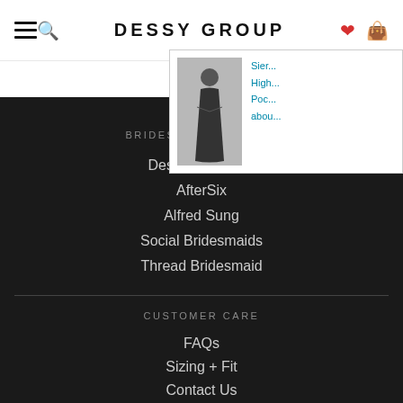DESSY GROUP
[Figure (screenshot): Dropdown showing a dark bridesmaid dress product thumbnail with text: Sier... High... Poc... abou...]
BRIDESMAID DRESSES
Dessy Collection
AfterSix
Alfred Sung
Social Bridesmaids
Thread Bridesmaid
CUSTOMER CARE
FAQs
Sizing + Fit
Contact Us
Shipping
Order History
Return Policy
International Shipping